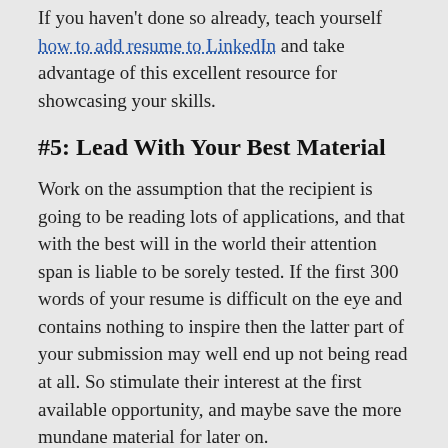If you haven't done so already, teach yourself how to add resume to LinkedIn and take advantage of this excellent resource for showcasing your skills.
#5: Lead With Your Best Material
Work on the assumption that the recipient is going to be reading lots of applications, and that with the best will in the world their attention span is liable to be sorely tested. If the first 300 words of your resume is difficult on the eye and contains nothing to inspire then the latter part of your submission may well end up not being read at all. So stimulate their interest at the first available opportunity, and maybe save the more mundane material for later on.
#6: Don't Ignore Appearance